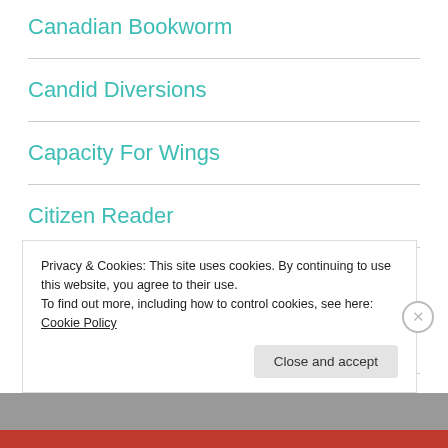Canadian Bookworm
Candid Diversions
Capacity For Wings
Citizen Reader
Compulsive Overreader
Consilient Interest
Privacy & Cookies: This site uses cookies. By continuing to use this website, you agree to their use.
To find out more, including how to control cookies, see here: Cookie Policy
Close and accept